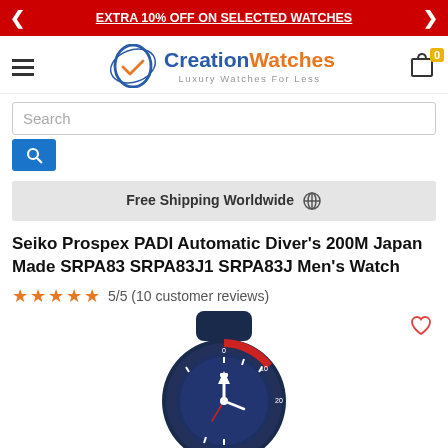EXTRA 10% OFF ON SELECTED WATCHES
[Figure (logo): Creation Watches logo with oval checkmark graphic and tagline 'Luxury Watches For Less']
Search
Free Shipping Worldwide 🌐
Seiko Prospex PADI Automatic Diver's 200M Japan Made SRPA83 SRPA83J1 SRPA83J Men's Watch
★★★★★ 5/5 (10 customer reviews)
[Figure (photo): Seiko Prospex PADI watch with blue dial and rubber strap, partial view showing the watch face with PADI logo and diving bezel]